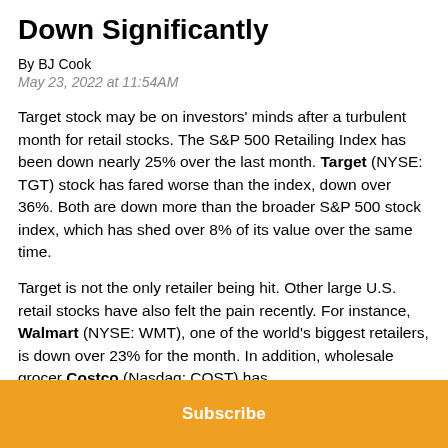Down Significantly
By BJ Cook
May 23, 2022 at 11:54AM
Target stock may be on investors' minds after a turbulent month for retail stocks. The S&P 500 Retailing Index has been down nearly 25% over the last month. Target (NYSE: TGT) stock has fared worse than the index, down over 36%. Both are down more than the broader S&P 500 stock index, which has shed over 8% of its value over the same time.
Target is not the only retailer being hit. Other large U.S. retail stocks have also felt the pain recently. For instance, Walmart (NYSE: WMT), one of the world's biggest retailers, is down over 23% for the month. In addition, wholesale grocer Costco (Nasdaq: COST) has
Subscribe